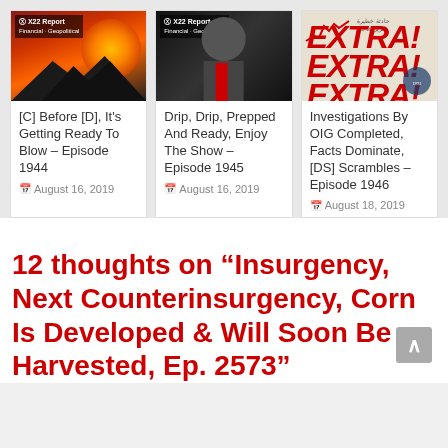[Figure (screenshot): Three article cards from X22 Report website arranged in a row with thumbnail images and titles]
[C] Before [D], It's Getting Ready To Blow – Episode 1944
August 16, 2019
Drip, Drip, Prepped And Ready, Enjoy The Show – Episode 1945
August 16, 2019
Investigations By OIG Completed, Facts Dominate, [DS] Scrambles – Episode 1946
August 18, 2019
12 thoughts on “Insurgency, Next Counterinsurgency, Corn Is Developed & Will Soon Be Harvested, Ep. 2573”